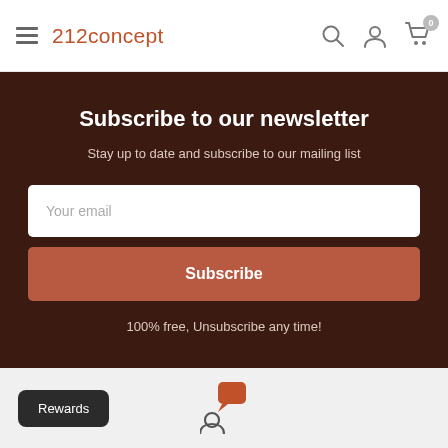212concept — navigation header with menu, logo, search, account, cart icons
Subscribe to our newsletter
Stay up to date and subscribe to our mailing list
Your email
Subscribe
100% free, Unsubscribe any time!
[Figure (screenshot): Rewards button and chat/account icon in footer area]